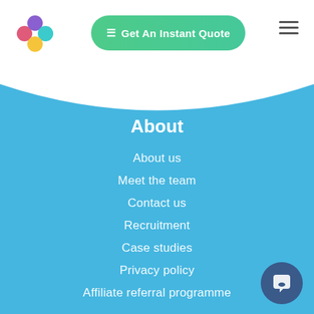[Figure (logo): Colorful circular logo with pink, purple, teal, and yellow circles arranged in a cross/plus pattern]
Get An Instant Quote
About
About us
Meet the team
Contact us
Recruitment
Case studies
Privacy policy
Affiliate referral programme
Contact
Telephone: 020 3355 4047